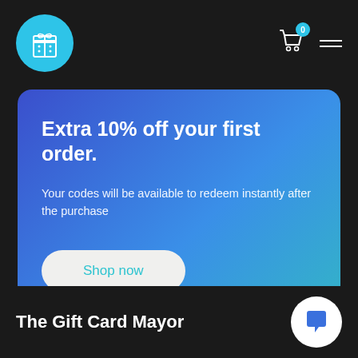The Gift Card Mayor - header with logo, cart icon and hamburger menu
[Figure (infographic): Promotional banner with gradient background (blue to teal) showing 'Extra 10% off your first order.' headline, descriptive text, and 'Shop now' button]
The Gift Card Mayor